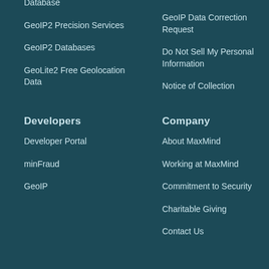Database
GeoIP2 Precision Services
GeoIP2 Databases
GeoLite2 Free Geolocation Data
GeoIP Data Correction Request
Do Not Sell My Personal Information
Notice of Collection
Developers
Developer Portal
minFraud
GeoIP
Company
About MaxMind
Working at MaxMind
Commitment to Security
Charitable Giving
Contact Us